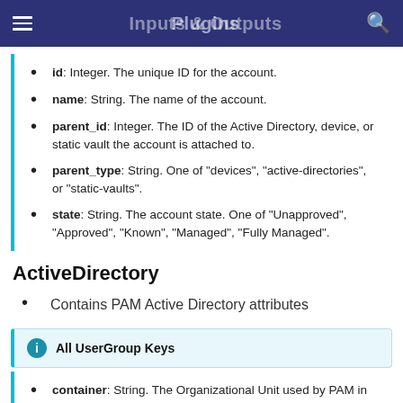Inputs & Outputs
id: Integer. The unique ID for the account.
name: String. The name of the account.
parent_id: Integer. The ID of the Active Directory, device, or static vault the account is attached to.
parent_type: String. One of "devices", "active-directories", or "static-vaults".
state: String. The account state. One of "Unapproved", "Approved", "Known", "Managed", "Fully Managed".
ActiveDirectory
Contains PAM Active Directory attributes
All UserGroup Keys
container: String. The Organizational Unit used by PAM in Active